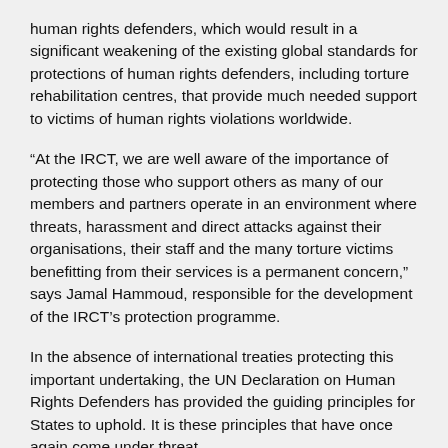human rights defenders, which would result in a significant weakening of the existing global standards for protections of human rights defenders, including torture rehabilitation centres, that provide much needed support to victims of human rights violations worldwide.
“At the IRCT, we are well aware of the importance of protecting those who support others as many of our members and partners operate in an environment where threats, harassment and direct attacks against their organisations, their staff and the many torture victims benefitting from their services is a permanent concern,” says Jamal Hammoud, responsible for the development of the IRCT’s protection programme.
In the absence of international treaties protecting this important undertaking, the UN Declaration on Human Rights Defenders has provided the guiding principles for States to uphold. It is these principles that have once again come under threat.